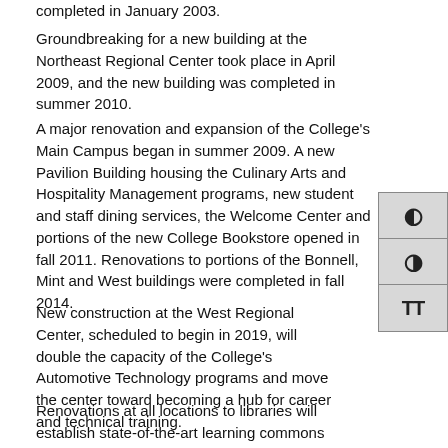completed in January 2003.
Groundbreaking for a new building at the Northeast Regional Center took place in April 2009, and the new building was completed in summer 2010.
A major renovation and expansion of the College's Main Campus began in summer 2009. A new Pavilion Building housing the Culinary Arts and Hospitality Management programs, new student and staff dining services, the Welcome Center and portions of the new College Bookstore opened in fall 2011. Renovations to portions of the Bonnell, Mint and West buildings were completed in fall 2014.
New construction at the West Regional Center, scheduled to begin in 2019, will double the capacity of the College's Automotive Technology programs and move the center toward becoming a hub for career and technical training.
Renovations at all locations to libraries will establish state-of-the-art learning commons equipped with technological